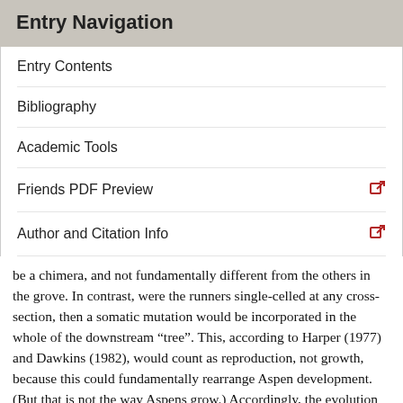Entry Navigation
Entry Contents
Bibliography
Academic Tools
Friends PDF Preview
Author and Citation Info
be a chimera, and not fundamentally different from the others in the grove. In contrast, were the runners single-celled at any cross-section, then a somatic mutation would be incorporated in the whole of the downstream “tree”. This, according to Harper (1977) and Dawkins (1982), would count as reproduction, not growth, because this could fundamentally rearrange Aspen development. (But that is not the way Aspens grow.) Accordingly, the evolution of complex adaptations, fundamental rearrangements of development, requires differential reproduction.